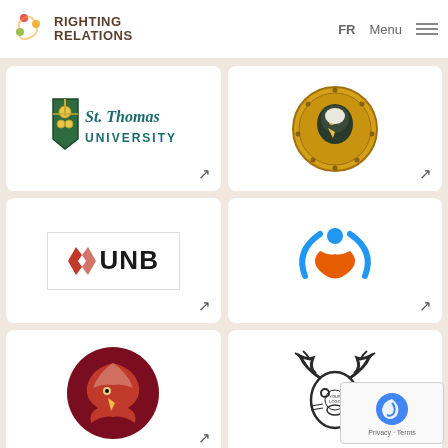[Figure (logo): Righting Relations logo with spiral design in red, orange, green]
[Figure (logo): St. Thomas University logo with shield and text]
[Figure (logo): Indigenous eagle medallion logo in gold and black]
[Figure (logo): UNB University of New Brunswick logo with red flame]
[Figure (logo): Abstract person figure logo in blue and orange]
[Figure (logo): Red circle eagle Indigenous art logo]
[Figure (logo): Black moose/caribou head Indigenous logo]
[Figure (other): reCAPTCHA privacy badge overlay]